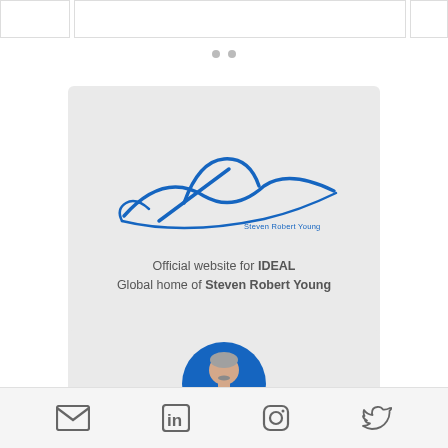[Figure (illustration): Top strip with three boxes (left, center, right) partially visible at top of page]
[Figure (illustration): Two gray dots (pagination indicator)]
[Figure (logo): Blue handwritten signature of Steven Robert Young on gray card background, with text 'Official website for IDEAL Global home of Steven Robert Young']
Official website for IDEAL Global home of Steven Robert Young
[Figure (photo): Gray card with circular profile photo of a man (Steven Robert Young) with mustache wearing black shirt, on blue circle background]
[Figure (infographic): Footer bar with four social icons: mail envelope, LinkedIn 'in', Instagram, Twitter bird]